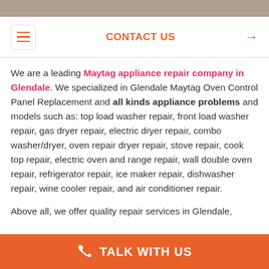[Figure (photo): Photo bar at top of page, cropped image strip]
≡  CONTACT US  →
We are a leading Maytag appliance repair company in Glendale. We specialized in Glendale Maytag Oven Control Panel Replacement and all kinds appliance problems and models such as: top load washer repair, front load washer repair, gas dryer repair, electric dryer repair, combo washer/dryer, oven repair dryer repair, stove repair, cook top repair, electric oven and range repair, wall double oven repair, refrigerator repair, ice maker repair, dishwasher repair, wine cooler repair, and air conditioner repair.
Above all, we offer quality repair services in Glendale,
TALK WITH US